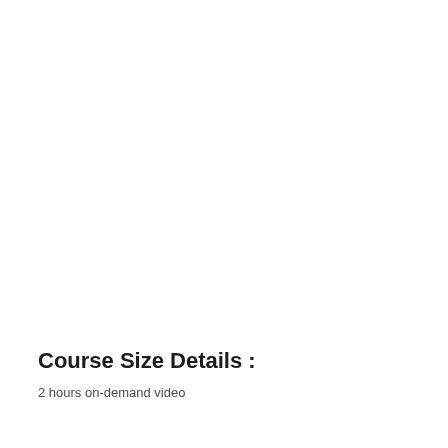Course Size Details :
2 hours on-demand video